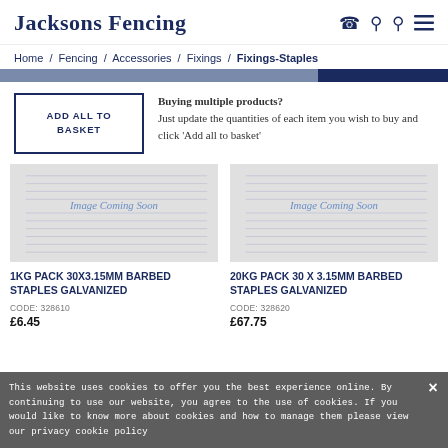Jacksons Fencing
Home / Fencing / Accessories / Fixings / Fixings-Staples
ADD ALL TO BASKET
Buying multiple products? Just update the quantities of each item you wish to buy and click 'Add all to basket'
[Figure (illustration): Image Coming Soon placeholder for 1KG Pack 30x3.15mm Barbed Staples Galvanized]
[Figure (illustration): Image Coming Soon placeholder for 20KG Pack 30 x 3.15mm Barbed Staples Galvanized]
1KG PACK 30X3.15MM BARBED STAPLES GALVANIZED
20KG PACK 30 X 3.15MM BARBED STAPLES GALVANIZED
CODE: 328610
CODE: 328620
£6.45
£67.75
This website uses cookies to offer you the best experience online. By continuing to use our website, you agree to the use of cookies. If you would like to know more about cookies and how to manage them please view our privacy cookie policy